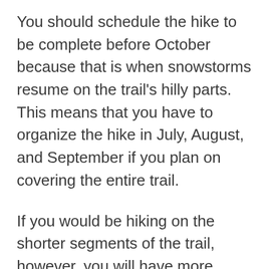You should schedule the hike to be complete before October because that is when snowstorms resume on the trail's hilly parts. This means that you have to organize the hike in July, August, and September if you plan on covering the entire trail.
If you would be hiking on the shorter segments of the trail, however, you will have more months to work with. This is because the low-altitude sections between Denver and Bailey are free of snowfall throughout the year. As a result, hikers can use these regions as